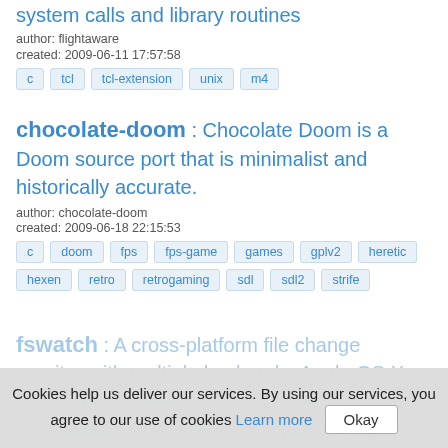system calls and library routines
author: flightaware
created: 2009-06-11 17:57:58
c
tcl
tcl-extension
unix
m4
chocolate-doom : Chocolate Doom is a Doom source port that is minimalist and historically accurate.
author: chocolate-doom
created: 2009-06-18 22:15:53
c
doom
fps
fps-game
games
gplv2
heretic
hexen
retro
retrogaming
sdl
sdl2
strife
fswatch : A cross-platform file change monitor with multiple backends: Apple OS X File System Events, *BSD kqueue, Solaris/Illumos File Events Notification, Linux inotify, Microsoft Windows, and a stat()-based backend.
author: emcrisostomo
created: 2009-06-25 21:31:52
Cookies help us deliver our services. By using our services, you agree to our use of cookies Learn more Okay